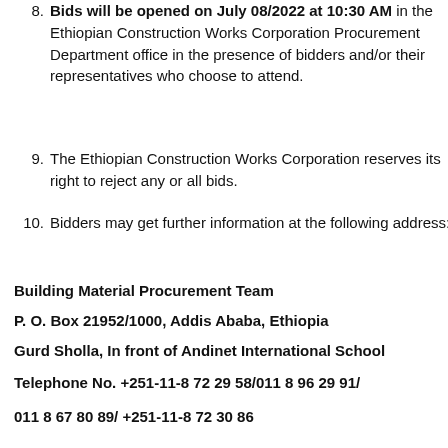8. Bids will be opened on July 08/2022 at 10:30 AM in the Ethiopian Construction Works Corporation Procurement Department office in the presence of bidders and/or their representatives who choose to attend.
9. The Ethiopian Construction Works Corporation reserves its right to reject any or all bids.
10. Bidders may get further information at the following address:
Building Material Procurement Team
P. O. Box 21952/1000, Addis Ababa, Ethiopia
Gurd Sholla, In front of Andinet International School
Telephone No. +251-11-8 72 29 58/011 8 96 29 91/
011 8 67 80 89/ +251-11-8 72 30 86